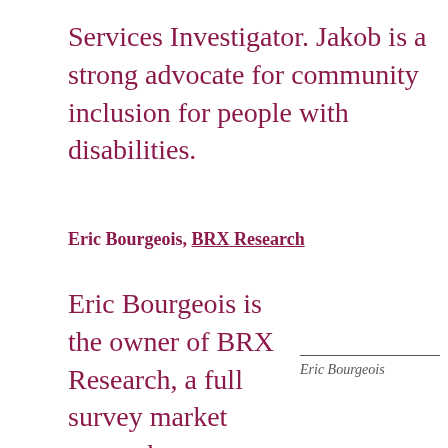Services Investigator. Jakob is a strong advocate for community inclusion for people with disabilities.
Eric Bourgeois, BRX Research
Eric Bourgeois is the owner of BRX Research, a full survey market research company based in Rochester, New York. BRX
Eric Bourgeois